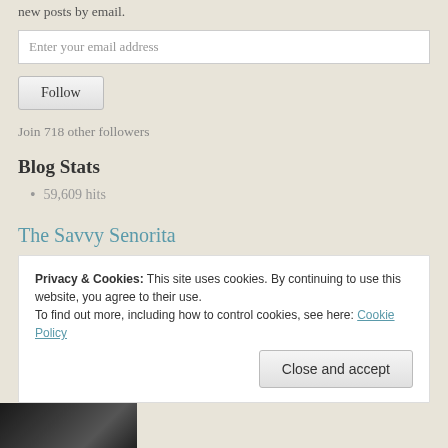new posts by email.
Enter your email address
Follow
Join 718 other followers
Blog Stats
59,609 hits
The Savvy Senorita
Privacy & Cookies: This site uses cookies. By continuing to use this website, you agree to their use. To find out more, including how to control cookies, see here: Cookie Policy
Close and accept
[Figure (photo): Partial photo strip at bottom left showing a dark-haired person]